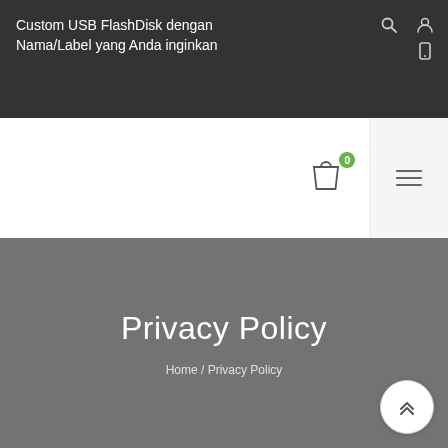Custom USB FlashDisk dengan Nama/Label yang Anda inginkan
Privacy Policy
Home / Privacy Policy